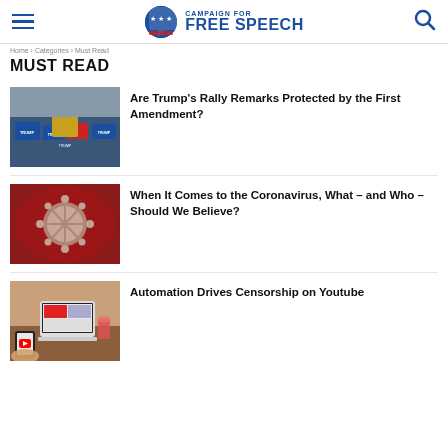Campaign for Free Speech
Home > Categories > Must Read
MUST READ
[Figure (photo): Trump at a rally with supporters holding Trump signs]
Are Trump’s Rally Remarks Protected by the First Amendment?
[Figure (photo): Coronavirus particle illustration on dark red background]
When It Comes to the Coronavirus, What – and Who – Should We Believe?
[Figure (photo): Person holding phone with YouTube app, laptop in background]
Automation Drives Censorship on Youtube